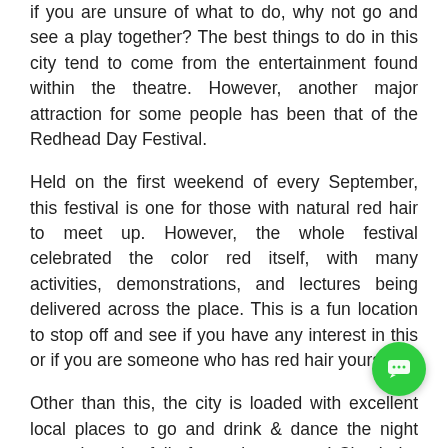if you are unsure of what to do, why not go and see a play together? The best things to do in this city tend to come from the entertainment found within the theatre. However, another major attraction for some people has been that of the Redhead Day Festival.
Held on the first weekend of every September, this festival is one for those with natural red hair to meet up. However, the whole festival celebrated the color red itself, with many activities, demonstrations, and lectures being delivered across the place. This is a fun location to stop off and see if you have any interest in this or if you are someone who has red hair yourself.
Other than this, the city is loaded with excellent local places to go and drink & dance the night away, but also full of amazing escorts! Check the Amsterdam escorts or the amazing escorts in Utrecht; whatever takes your fancy, Breda will more than likely deliver.